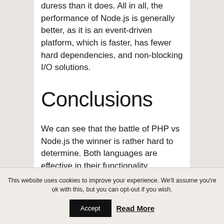duress than it does. All in all, the performance of Node.js is generally better, as it is an event-driven platform, which is faster, has fewer hard dependencies, and non-blocking I/O solutions.
Conclusions
We can see that the battle of PHP vs Node.js the winner is rather hard to determine. Both languages are effective in their functionality.
This website uses cookies to improve your experience. We'll assume you're ok with this, but you can opt-out if you wish.